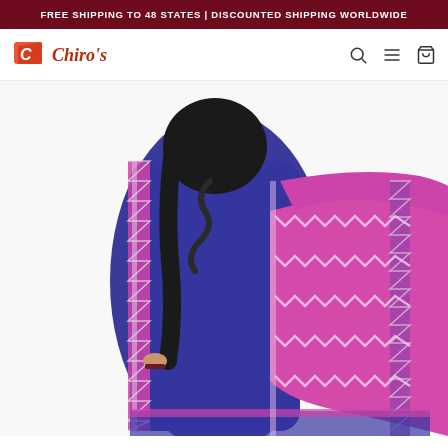FREE SHIPPING TO 48 STATES | DISCOUNTED SHIPPING WORLDWIDE
[Figure (logo): Chiro's brand logo with orange/red stylized C icon and italic red script text]
[Figure (photo): Woman wearing a blue and pink/magenta saree with decorative border pattern, photographed from behind/side]